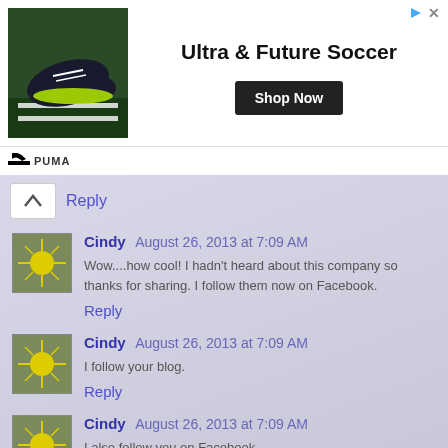[Figure (infographic): Puma advertisement banner showing soccer cleats image, text 'Ultra & Future Soccer', 'Shop Now' button, and Puma logo at bottom]
Reply
[Figure (photo): Avatar image of flower/plant]
Cindy August 26, 2013 at 7:09 AM
Wow....how cool! I hadn't heard about this company so thanks for sharing. I follow them now on Facebook.
Reply
[Figure (photo): Avatar image of flower/plant]
Cindy August 26, 2013 at 7:09 AM
I follow your blog.
Reply
[Figure (photo): Avatar image of flower/plant]
Cindy August 26, 2013 at 7:09 AM
I also follow you on Facebook.